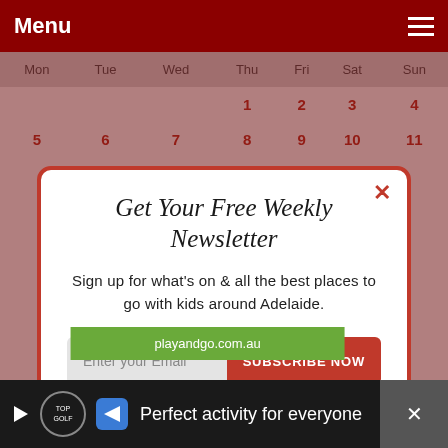Menu
| Mon | Tue | Wed | Thu | Fri | Sat | Sun |
| --- | --- | --- | --- | --- | --- | --- |
|  |  |  | 1 | 2 | 3 | 4 |
| 5 | 6 | 7 | 8 | 9 | 10 | 11 |
Get Your Free Weekly Newsletter
Sign up for what's on & all the best places to go with kids around Adelaide.
Enter your Email   SUBSCRIBE NOW
NO THANKS
playandgo.com.au
Perfect activity for everyone